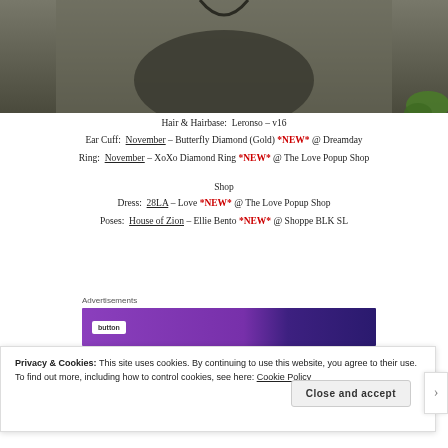[Figure (photo): A person wearing a dark olive/charcoal dress, partially cropped, with green foliage visible at bottom right.]
Hair & Hairbase:  Leronso – v16
Ear Cuff:  November – Butterfly Diamond (Gold) *NEW* @ Dreamday
Ring:  November – XoXo Diamond Ring *NEW* @ The Love Popup Shop
Dress:  28LA – Love *NEW* @ The Love Popup Shop
Poses:  House of Zion – Ellie Bento *NEW* @ Shoppe BLK SL
Advertisements
[Figure (screenshot): Purple/violet advertisement banner with a white button element.]
Privacy & Cookies: This site uses cookies. By continuing to use this website, you agree to their use.
To find out more, including how to control cookies, see here: Cookie Policy
Close and accept